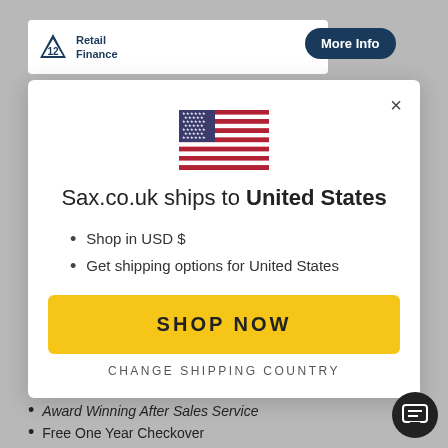[Figure (screenshot): V12 Retail Finance logo and More Info button in background header]
[Figure (illustration): United States flag icon]
Sax.co.uk ships to United States
Shop in USD $
Get shipping options for United States
SHOP NOW
CHANGE SHIPPING COUNTRY
Award Winning After Sales Service
Free One Year Checkover